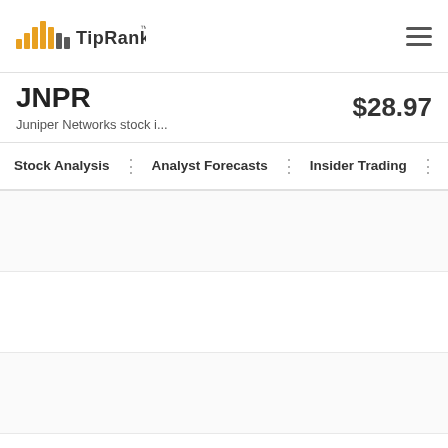[Figure (logo): TipRanks logo with orange bar-chart icon and dark text]
JNPR
Juniper Networks stock i...
$28.97
Stock Analysis | Analyst Forecasts | Insider Trading | N